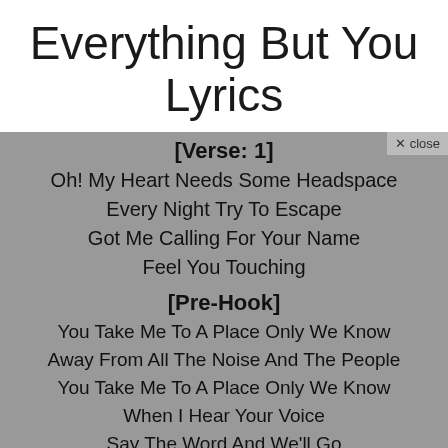Everything But You Lyrics
[Verse: 1]
Oh! My Heart Needs Some Headspace
Every Night Try To Escape
Got Me Calling For Your Name
Feel You Touching
[Pre-Hook]
You Take Me To A Place Only We Know
Away From All The Noise And The People
You Take Me To A Place Only We Know
When I Hear Your Voice
Say The Word And We'll Go